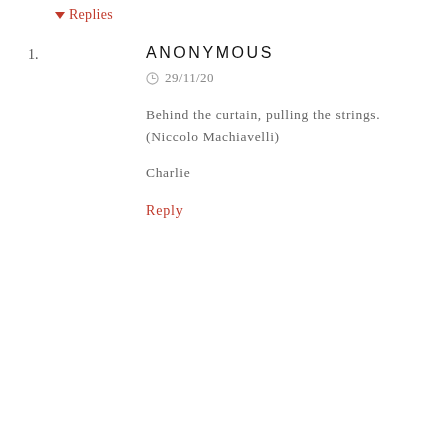▼ Replies
1. ANONYMOUS
⊙ 29/11/20
Behind the curtain, pulling the strings. (Niccolo Machiavelli)
Charlie
Reply
Enter Comment